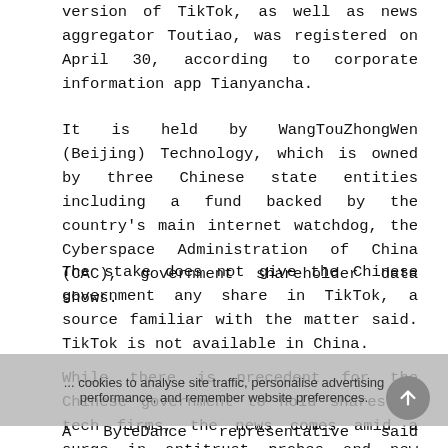version of TikTok, as well as news aggregator Toutiao, was registered on April 30, according to corporate information app Tianyancha.
It is held by WangTouZhongWen (Beijing) Technology, which is owned by three Chinese state entities including a fund backed by the country's main internet watchdog, the Cyberspace Administration of China (CAC), government shareholder data shows.
The stake does not give the Chinese government any share in TikTok, a source familiar with the matter said. TikTok is not available in China.
While there is precedent for the Chinese government to hold shares in tech firms, the news comes amid a surge in antitrust probes and new rules for the industry, upending a previously laissez-faire approach by authorities.
A ByteDance representative said Beijing ByteDance Technology “only relates to some of ByteDance’s China-